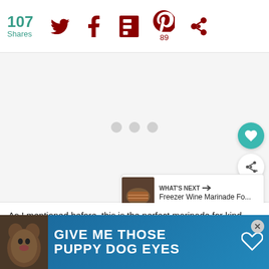[Figure (screenshot): Social share bar showing 107 Shares count in teal, Twitter bird icon, Facebook F icon, Flipboard icon, Pinterest icon with 89 count, and a share icon, all in dark red/maroon color]
[Figure (screenshot): Light gray image/content area with three gray loading dots in center, side buttons (heart and share) on right, and a 'WHAT'S NEXT' card showing 'Freezer Wine Marinade Fo...' with food thumbnail]
As I mentioned before, this is the perfect marinade for kind... ...fresh
[Figure (infographic): Advertisement banner with dog image on left and text 'GIVE ME THOSE PUPPY DOG EYES' with heart icon, plus a close X button]